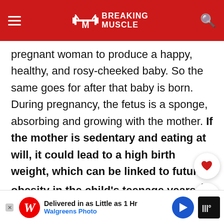Breaking Muscle
pregnant woman to produce a happy, healthy, and rosy-cheeked baby. So the same goes for after that baby is born. During pregnancy, the fetus is a sponge, absorbing and growing with the mother. If the mother is sedentary and eating at will, it could lead to a high birth weight, which can be linked to future obesity in the child’s teenage years.4 During these tumultuous and confusing years, when children struggle with their weight and worry about their future, they will also need to contend with poorer motor co... pe...